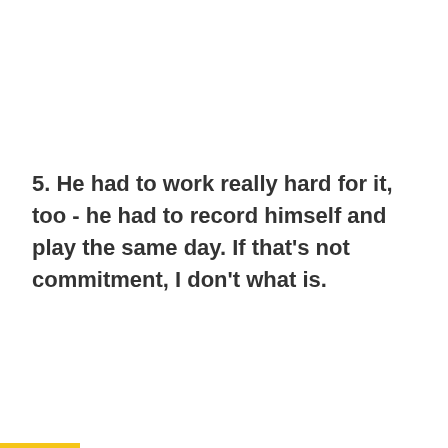5. He had to work really hard for it, too - he had to record himself and play the same day. If that's not commitment, I don't what is.
[Figure (other): Three small dots navigation indicator, center dot slightly larger/darker]